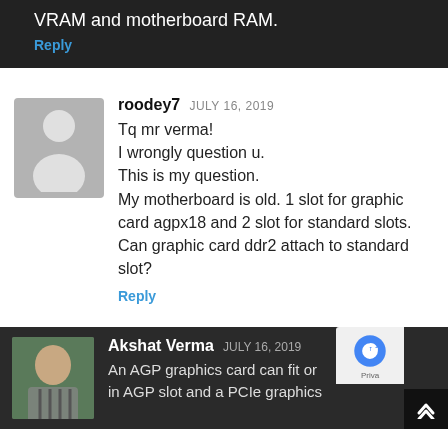VRAM and motherboard RAM.
Reply
[Figure (illustration): Generic user avatar placeholder (grey silhouette)]
roodey7 JULY 16, 2019
Tq mr verma!
I wrongly question u.
This is my question.
My motherboard is old. 1 slot for graphic card agpx18 and 2 slot for standard slots.
Can graphic card ddr2 attach to standard slot?
Reply
[Figure (photo): Photo of Akshat Verma]
Akshat Verma JULY 16, 2019
An AGP graphics card can fit on
in AGP slot and a PCIe graphics